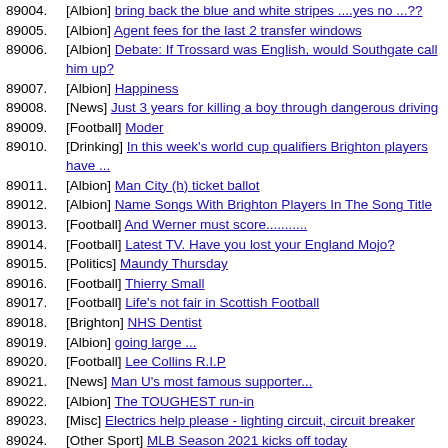89004. [Albion] bring back the blue and white stripes ....yes no ...??
89005. [Albion] Agent fees for the last 2 transfer windows
89006. [Albion] Debate: If Trossard was English, would Southgate call him up?
89007. [Albion] Happiness
89008. [News] Just 3 years for killing a boy through dangerous driving
89009. [Football] Moder
89010. [Drinking] In this week's world cup qualifiers Brighton players have ...
89011. [Albion] Man City (h) ticket ballot
89012. [Albion] Name Songs With Brighton Players In The Song Title
89013. [Football] And Werner must score...........
89014. [Football] Latest TV. Have you lost your England Mojo?
89015. [Politics] Maundy Thursday
89016. [Football] Thierry Small
89017. [Football] Life's not fair in Scottish Football
89018. [Brighton] NHS Dentist
89019. [Albion] going large ...
89020. [Football] Lee Collins R.I.P
89021. [News] Man U's most famous supporter...
89022. [Albion] The TOUGHEST run-in
89023. [Misc] Electrics help please - lighting circuit, circuit breaker
89024. [Other Sport] MLB Season 2021 kicks off today
89025. [Albion] ** Man Utd v BHA ** - Predict Potter's Picks - What's up Potter's sleeve for OGS?
89026. [TV] BBC2 - Pandemic 2020